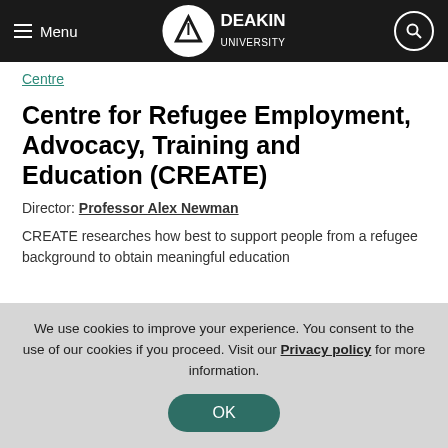Deakin University — Menu / Search navigation bar
Centre
Centre for Refugee Employment, Advocacy, Training and Education (CREATE)
Director: Professor Alex Newman
CREATE researches how best to support people from a refugee background to obtain meaningful education
We use cookies to improve your experience. You consent to the use of our cookies if you proceed. Visit our Privacy policy for more information.
OK